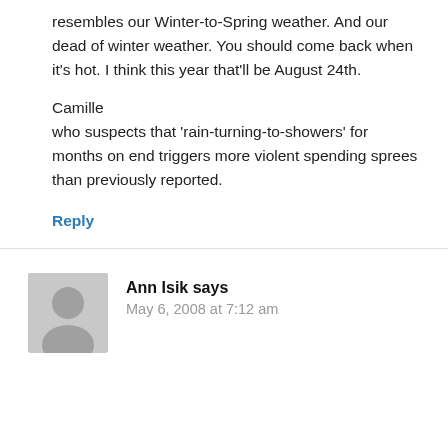resembles our Winter-to-Spring weather. And our dead of winter weather. You should come back when it's hot. I think this year that'll be August 24th.
Camille
who suspects that ‘rain-turning-to-showers’ for months on end triggers more violent spending sprees than previously reported.
Reply
Ann Isik says
May 6, 2008 at 7:12 am